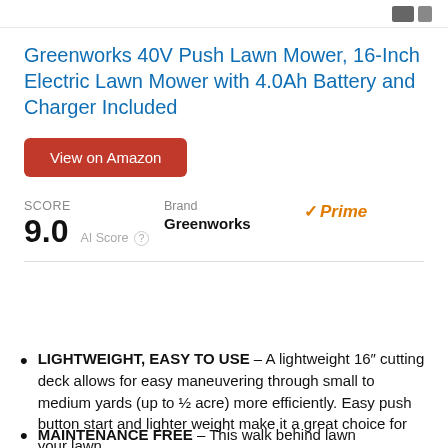[Figure (other): Partial product image at top of page (cropped)]
Greenworks 40V Push Lawn Mower, 16-Inch Electric Lawn Mower with 4.0Ah Battery and Charger Included
View on Amazon
SCORE 9.0 AI Score | Brand Greenworks | Prime
LIGHTWEIGHT, EASY TO USE – A lightweight 16" cutting deck allows for easy maneuvering through small to medium yards (up to ½ acre) more efficiently. Easy push button start and lighter weight make it a great choice for your lawn.
MAINTENANCE FREE – This walk behind lawn